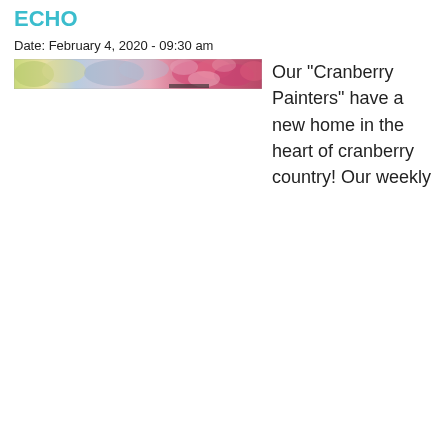ECHO
Date: February 4, 2020 - 09:30 am
[Figure (photo): Horizontal banner image showing a colorful abstract/floral painting with pink, purple, and yellow hues — likely a cranberry-themed artwork.]
Our "Cranberry Painters" have a new home in the heart of cranberry country! Our weekly